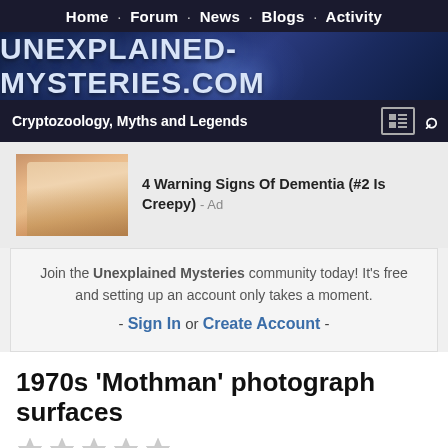Home · Forum · News · Blogs · Activity
UNEXPLAINED-MYSTERIES.COM
Cryptozoology, Myths and Legends
[Figure (photo): Close-up photo of fingernails/hand, used as advertisement image]
4 Warning Signs Of Dementia (#2 Is Creepy) - Ad
Join the Unexplained Mysteries community today! It's free and setting up an account only takes a moment.
- Sign In or Create Account -
1970s 'Mothman' photograph surfaces
By UM-Bot,
March 24, 2021 in Cryptozoology, Myths and Legends